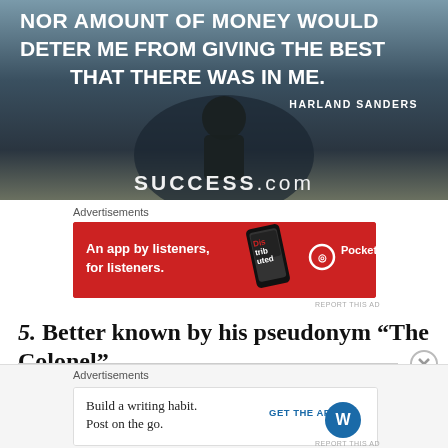[Figure (illustration): Motivational image with text quote over a dark background with a person silhouette. Text reads: 'NOR AMOUNT OF MONEY WOULD DETER ME FROM GIVING THE BEST THAT THERE WAS IN ME.' attributed to HARLAND SANDERS, with SUCCESS.com logo at the bottom.]
Advertisements
[Figure (other): Red advertisement banner for Pocket Casts: 'An app by listeners, for listeners.' with Pocket Casts logo and a phone image showing the Distrib... podcast cover.]
REPORT THIS AD
5. Better known by his pseudonym “The Colonel”.
Advertisements
[Figure (other): Light advertisement banner: 'Build a writing habit. Post on the go.' with GET THE APP button and WordPress logo.]